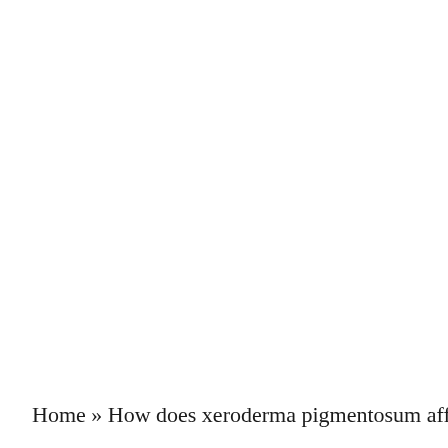Home » How does xeroderma pigmentosum affect